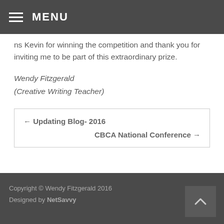MENU
ns Kevin for winning the competition and thank you for inviting me to be part of this extraordinary prize.
Wendy Fitzgerald
(Creative Writing Teacher)
← Updating Blog- 2016
CBCA National Conference →
Copyright © Wendy Fitzgerald 2016
Designed by NetSavvy